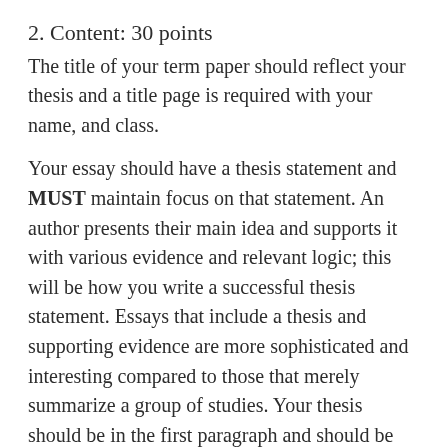2. Content: 30 points
The title of your term paper should reflect your thesis and a title page is required with your name, and class.
Your essay should have a thesis statement and MUST maintain focus on that statement. An author presents their main idea and supports it with various evidence and relevant logic; this will be how you write a successful thesis statement. Essays that include a thesis and supporting evidence are more sophisticated and interesting compared to those that merely summarize a group of studies. Your thesis should be in the first paragraph and should be compelling and reasonably specific.
Your essay’s content should focus on a particular supernatural or superstitious phenomenon. You can write on any supernatural or superstitious phenomenon